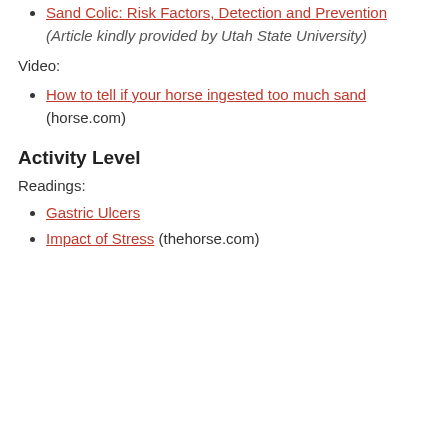Sand Colic: Risk Factors, Detection and Prevention (Article kindly provided by Utah State University)
Video:
How to tell if your horse ingested too much sand (horse.com)
Activity Level
Readings:
Gastric Ulcers
Impact of Stress (thehorse.com)